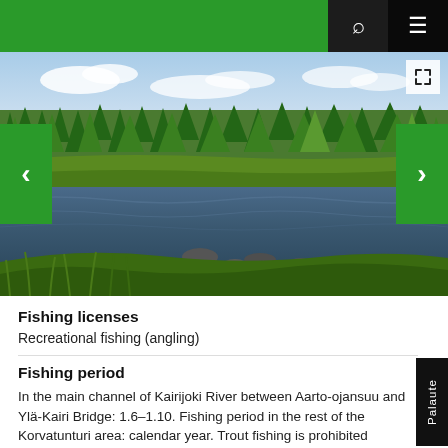[Figure (photo): Scenic river landscape with rocks, green grass banks, surrounding boreal forest under a partly cloudy sky — Kairijoki River area, Finland]
Fishing licenses
Recreational fishing (angling)
Fishing period
In the main channel of Kairijoki River between Aarto-ojansuu and Ylä-Kairi Bridge: 1.6–1.10. Fishing period in the rest of the Korvatunturi area: calendar year. Trout fishing is prohibited between 1.9–30.11.